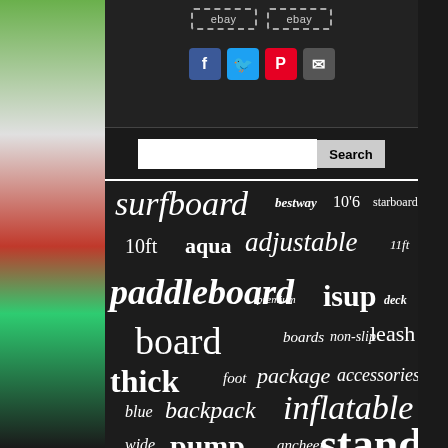[Figure (screenshot): eBay listing buttons with dashed borders and social share icons (Facebook, Twitter, Pinterest, Email)]
[Figure (screenshot): Search bar with text input and Search button]
[Figure (infographic): Word cloud on dark background with paddleboard-related keywords in varying sizes: surfboard, bestway, 10'6, starboard, 10ft, aqua, adjustable, 11ft, paddleboard, isup, premium, deck, board, boards, non-slip, leash, thick, foot, package, accessories, blue, backpack, inflatable, wide, pump, ancheer, stand, paddle]